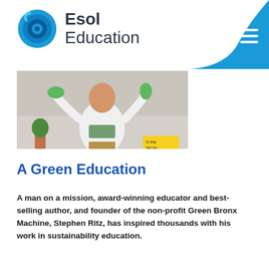[Figure (logo): Esol Education logo with circular blue icon and text 'Esol Education']
[Figure (photo): A man enthusiastically posing, wearing a white t-shirt with 'Green Bronx Machine' text, holding green items, with plants visible in the background and a yellow sign partially visible]
A Green Education
A man on a mission, award-winning educator and best-selling author, and founder of the non-profit Green Bronx Machine, Stephen Ritz, has inspired thousands with his work in sustainability education.